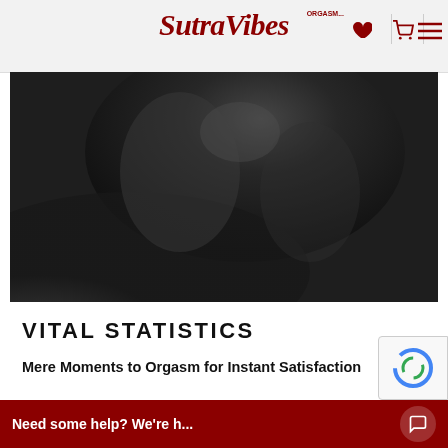SutraVibes
[Figure (photo): Dark grayscale lifestyle photograph, intimate/romantic scene, low light]
VITAL STATISTICS
Mere Moments to Orgasm for Instant Satisfaction
Reviewers and owners tell us that nothing makes them climax faster or more intensely
Need some help? We're h...